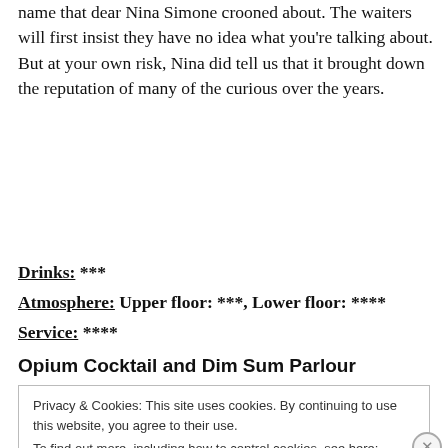name that dear Nina Simone crooned about. The waiters will first insist they have no idea what you're talking about. But at your own risk, Nina did tell us that it brought down the reputation of many of the curious over the years.
Drinks: ***
Atmosphere: Upper floor: ***, Lower floor: ****
Service: ****
Opium Cocktail and Dim Sum Parlour
Privacy & Cookies: This site uses cookies. By continuing to use this website, you agree to their use.
To find out more, including how to control cookies, see here: Cookie Policy
Close and accept